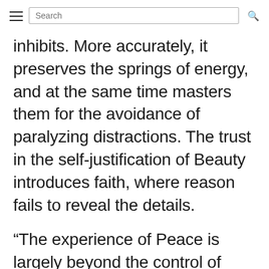Search
inhibits. More accurately, it preserves the springs of energy, and at the same time masters them for the avoidance of paralyzing distractions. The trust in the self-justification of Beauty introduces faith, where reason fails to reveal the details.
"The experience of Peace is largely beyond the control of purpose. It comes as a gift. The deliberate aim at Peace very easily passes into its bastard substitute, Anaesthesia. In other words, in the place of a quality of ‘life and motion,’ there is substituted their destruction. Thus peace is the